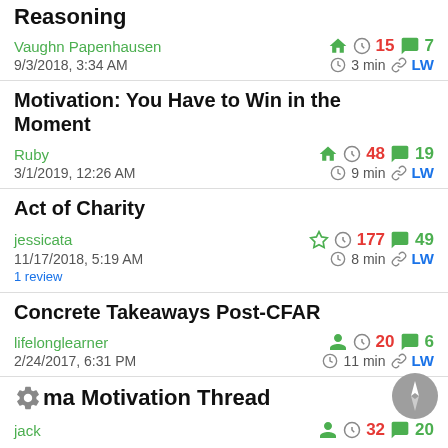Reasoning
Vaughn Papenhausen · 15 karma · 7 comments · 9/3/2018, 3:34 AM · 3 min · LW
Motivation: You Have to Win in the Moment
Ruby · 48 karma · 19 comments · 3/1/2019, 12:26 AM · 9 min · LW
Act of Charity
jessicata · 177 karma · 49 comments · 11/17/2018, 5:19 AM · 1 review · 8 min · LW
Concrete Takeaways Post-CFAR
lifelonglearner · 20 karma · 6 comments · 2/24/2017, 6:31 PM · 11 min · LW
Karma Motivation Thread
jack · 32 karma · 20 comments